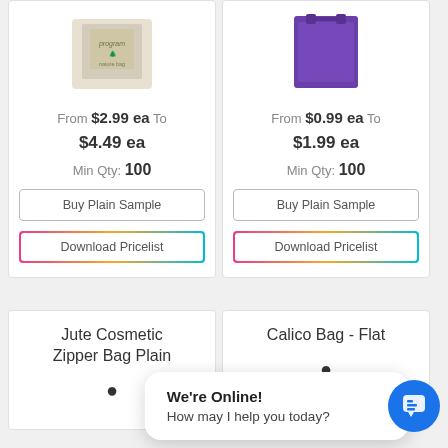[Figure (photo): Product image top-left (bag with program print)]
From $2.99 ea To $4.49 ea
Min Qty: 100
Buy Plain Sample
Download Pricelist
[Figure (photo): Product image top-right (purple bag)]
From $0.99 ea To $1.99 ea
Min Qty: 100
Buy Plain Sample
Download Pricelist
Jute Cosmetic Zipper Bag Plain
Calico Bag - Flat
We're Online!
How may I help you today?